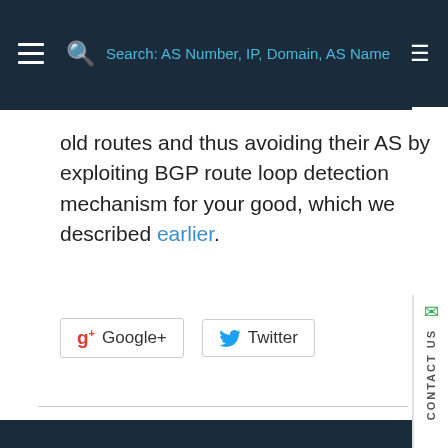Search: AS Number, IP, Domain, AS Name
old routes and thus avoiding their AS by exploiting BGP route loop detection mechanism for your good, which we described earlier.
[Figure (other): Social share buttons: Google+ and Twitter]
[Figure (other): SUBSCRIBE button (green) and CONTACT US sidebar element]